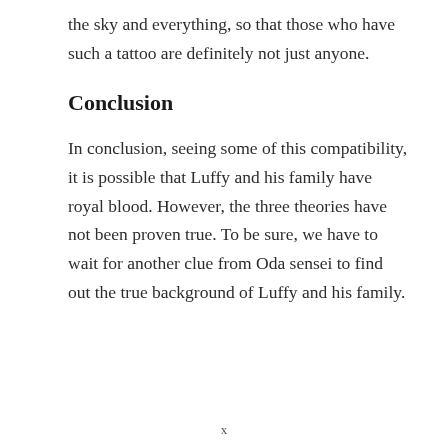the sky and everything, so that those who have such a tattoo are definitely not just anyone.
Conclusion
In conclusion, seeing some of this compatibility, it is possible that Luffy and his family have royal blood. However, the three theories have not been proven true. To be sure, we have to wait for another clue from Oda sensei to find out the true background of Luffy and his family.
x